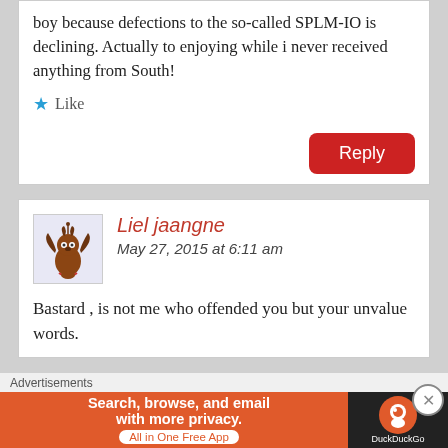boy because defections to the so-called SPLM-IO is declining. Actually to enjoying while i never received anything from South!
Like
Reply
Liel jaangne
May 27, 2015 at 6:11 am
[Figure (illustration): User avatar showing a cartoon bat-like creature on a light purple background]
Bastard , is not me who offended you but your unvalue words.
Advertisements
Search, browse, and email with more privacy. All in One Free App
[Figure (logo): DuckDuckGo logo on dark background]